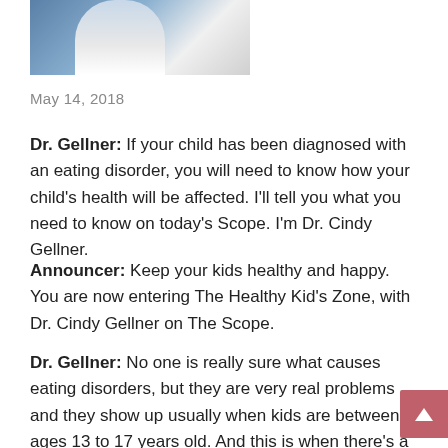[Figure (photo): Photo of a person (doctor) in white coat against a blue background, cropped at top]
May 14, 2018
Dr. Gellner: If your child has been diagnosed with an eating disorder, you will need to know how your child's health will be affected. I'll tell you what you need to know on today's Scope. I'm Dr. Cindy Gellner.
Announcer: Keep your kids healthy and happy. You are now entering The Healthy Kid's Zone, with Dr. Cindy Gellner on The Scope.
Dr. Gellner: No one is really sure what causes eating disorders, but they are very real problems and they show up usually when kids are between ages 13 to 17 years old. And this is when there's a lot of physical